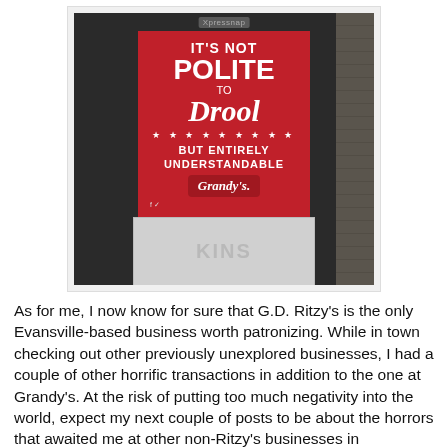[Figure (photo): Photo of a Xpressnap napkin dispenser against a brick wall, with a Grandy's advertisement insert reading: IT'S NOT POLITE TO Drool BUT ENTIRELY UNDERSTANDABLE Grandy's. The bottom of the dispenser has text reading KINS. Background is dark/concrete floor.]
As for me, I now know for sure that G.D. Ritzy's is the only Evansville-based business worth patronizing. While in town checking out other previously unexplored businesses, I had a couple of other horrific transactions in addition to the one at Grandy's. At the risk of putting too much negativity into the world, expect my next couple of posts to be about the horrors that awaited me at other non-Ritzy's businesses in